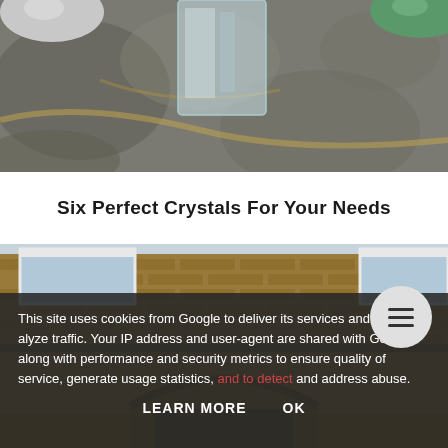[Figure (photo): Close-up overhead view of crystals and gemstones placed on rough stone/granite surface. Visible are a white/grey sphere (top left), a clear rectangular crystal in the center, and a green sphere (top right).]
Six Perfect Crystals For Your Needs
[Figure (photo): Photo of a brick building exterior showing a brick wall with white-framed windows, a red alarm box mounted on the wall, and an arched brick doorway at the bottom.]
This site uses cookies from Google to deliver its services and to analyze traffic. Your IP address and user-agent are shared with Google along with performance and security metrics to ensure quality of service, generate usage statistics, and to detect and address abuse.
LEARN MORE    OK